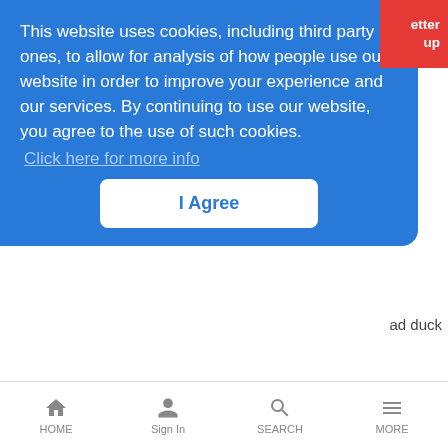[Figure (screenshot): Cookie consent banner overlay on a website, blue background with white text and an I Agree button. Red button partially visible top right.]
This website uses cookies, including third party ones, to allow for analysis of how people use our website in order to improve your experience and our services. By continuing to use our website, you agree to the use of such cookies.
Click here for more info
I Agree
ad duck
Asking the Right Question – Peter Heywood
Security Boxes Look to Ban Spam
News Analysis | 9/26/2003
Spam-fighting is a growing opportunity, and many security applicance vendors are so positioning their products
HOME   Sign In   SEARCH   MORE